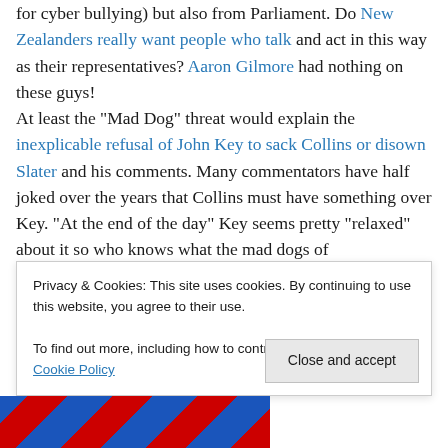for cyber bullying) but also from Parliament. Do New Zealanders really want people who talk and act in this way as their representatives? Aaron Gilmore had nothing on these guys!
At least the "Mad Dog" threat would explain the inexplicable refusal of John Key to sack Collins or disown Slater and his comments. Many commentators have half joked over the years that Collins must have something over Key. "At the end of the day" Key seems pretty "relaxed" about it so who knows what the mad dogs of
Privacy & Cookies: This site uses cookies. By continuing to use this website, you agree to their use.
To find out more, including how to control cookies, see here: Cookie Policy
[Figure (illustration): Diagonal red and blue striped banner/image at bottom left of page]